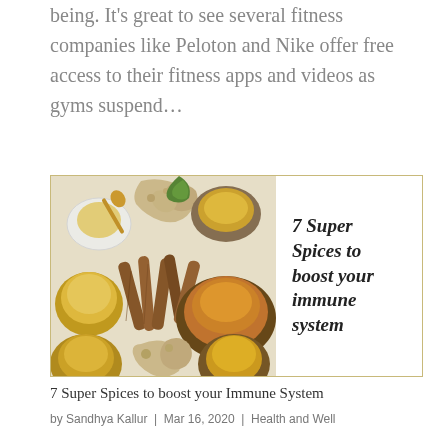being. It’s great to see several fitness companies like Peloton and Nike offer free access to their fitness apps and videos as gyms suspend…
[Figure (photo): Article card featuring a flat-lay photo of various spices and ingredients (ginger, cinnamon sticks, turmeric powder, honey, green herbs) on a light background, with bold italic text overlay reading '7 Super Spices to boost your immune system']
7 Super Spices to boost your Immune System
by Sandhya Kallur | Mar 16, 2020 | Health and Well